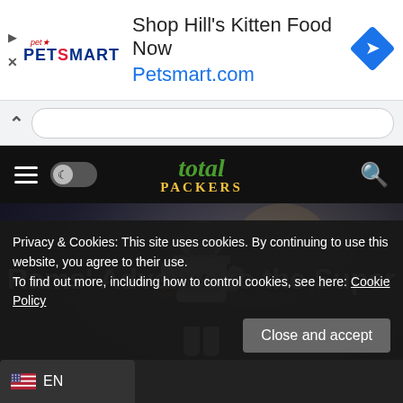[Figure (screenshot): PetSmart advertisement banner: 'Shop Hill's Kitten Food Now - Petsmart.com' with PetSmart logo and blue diamond arrow icon]
[Figure (screenshot): Browser navigation bar with up chevron and address bar]
total PACKERS - site navigation bar with hamburger menu, dark mode toggle, logo, and search icon
[Figure (photo): Football player wearing LA Rams jersey number 89 running with ball, dark stadium background]
Rams' Advance to the Super
Privacy & Cookies: This site uses cookies. By continuing to use this website, you agree to their use.
To find out more, including how to control cookies, see here: Cookie Policy
Close and accept
EN